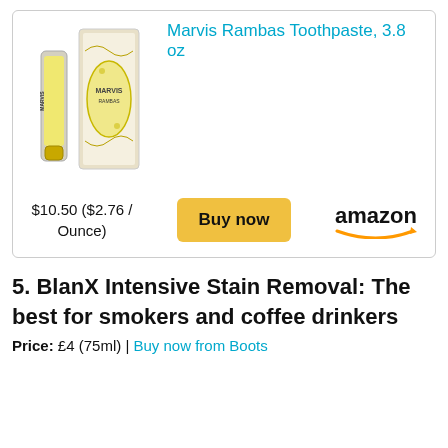[Figure (photo): Product photo of Marvis Rambas Toothpaste showing a tube and box with yellow and silver design]
Marvis Rambas Toothpaste, 3.8 oz
$10.50 ($2.76 / Ounce)
Buy now
[Figure (logo): Amazon logo with orange smile arrow]
5. BlanX Intensive Stain Removal: The best for smokers and coffee drinkers
Price: £4 (75ml) | Buy now from Boots